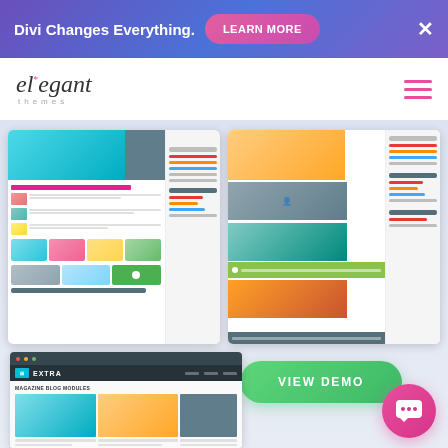Divi Changes Everything. LEARN MORE ✕
[Figure (screenshot): Elegant Themes website navigation with logo and hamburger menu]
[Figure (screenshot): Two side-by-side screenshots of the Extra WordPress theme showing blog layouts with images, posts, and colorful content sections]
VIEW DEMO
VIEW DEMO
[Figure (screenshot): Bottom preview of Extra theme with logo, blog modules layout showing food and lifestyle imagery]
[Figure (other): Pink circular chat/support button with smiley face icon]